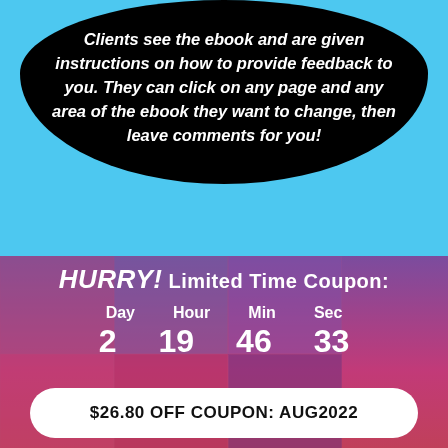Clients see the ebook and are given instructions on how to provide feedback to you. They can click on any page and any area of the ebook they want to change, then leave comments for you!
You'll receive a notification, and once you've made the changes, you simply send the client the link again.
And don't worry — your clients will never see any Sqribble branding, and they'll never know you're using Sqribble to CHEAT YOUR WAY to beautiful ebook designs. and sales!
HURRY! Limited Time Coupon:
Day 2  Hour 19  Min 46  Sec 33
$26.80 OFF COUPON: AUG2022